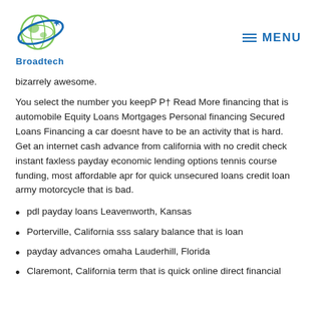Broadtech | MENU
bizarrely awesome.
You select the number you keepP P† Read More financing that is automobile Equity Loans Mortgages Personal financing Secured Loans Financing a car doesnt have to be an activity that is hard. Get an internet cash advance from california with no credit check instant faxless payday economic lending options tennis course funding, most affordable apr for quick unsecured loans credit loan army motorcycle that is bad.
pdl payday loans Leavenworth, Kansas
Porterville, California sss salary balance that is loan
payday advances omaha Lauderhill, Florida
Claremont, California term that is quick online direct financial